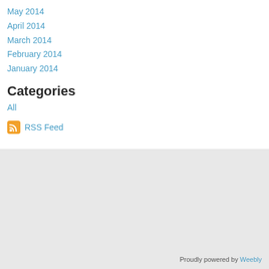May 2014
April 2014
March 2014
February 2014
January 2014
Categories
All
RSS Feed
Proudly powered by Weebly